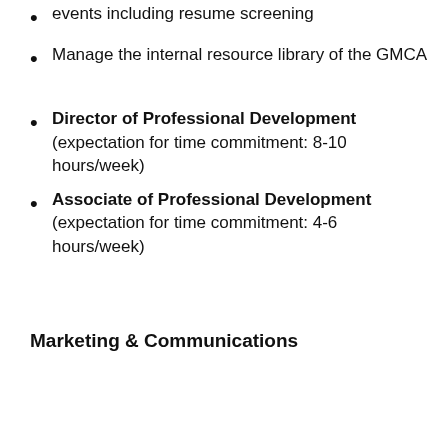events including resume screening
Manage the internal resource library of the GMCA
Director of Professional Development (expectation for time commitment: 8-10 hours/week)
Associate of Professional Development (expectation for time commitment: 4-6 hours/week)
Marketing & Communications